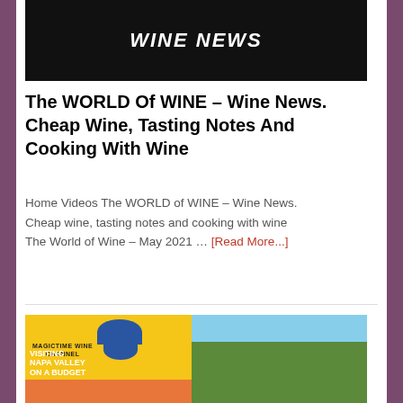[Figure (photo): Wine News banner image with dark background and bold white italic text reading WINE NEWS]
The WORLD Of WINE – Wine News. Cheap Wine, Tasting Notes And Cooking With Wine
Home Videos The WORLD of WINE – Wine News. Cheap wine, tasting notes and cooking with wine The World of Wine – May 2021 … [Read More...]
[Figure (photo): Magictime Wine Channel thumbnail showing yellow background with blue decorative shape, text VISITING NAPA VALLEY ON A BUDGET, and a photo of a couple walking through a vineyard]